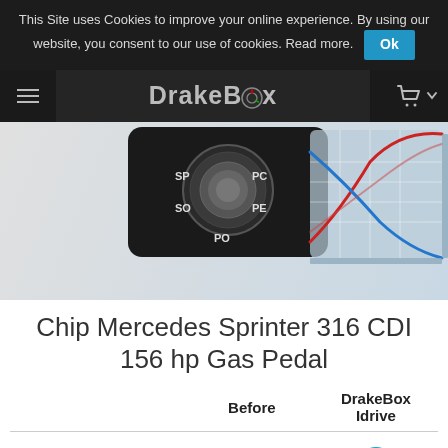This Site uses Cookies to improve your online experience. By using our website, you consent to our use of cookies. Read more. Ok
[Figure (logo): DrakeBox navigation logo with hamburger menu, DrakeBox brand name, and cart icon on dark background]
[Figure (photo): DrakeBox product image showing a dial controller device with SP, PC, SO, PE, PO labels and a performance graph with red, blue, and red curves on a grid]
Chip Mercedes Sprinter 316 CDI 156 hp Gas Pedal
|  | Before | DrakeBox Idrive |
| --- | --- | --- |
| Acceleration | Standard | ↑ |
| Response | Standard | ↑ |